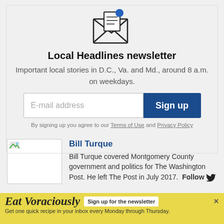[Figure (illustration): Open envelope icon with a blue notification dot in the upper right corner]
Local Headlines newsletter
Important local stories in D.C., Va. and Md., around 8 a.m. on weekdays.
E-mail address [input field] Sign up [button]
By signing up you agree to our Terms of Use and Privacy Policy
[Figure (photo): Author photo thumbnail of Bill Turque]
Bill Turque
Bill Turque covered Montgomery County government and politics for The Washington Post. He left The Post in July 2017. Follow [Twitter bird icon]
[Figure (infographic): Eat Voraciously advertisement banner with yellow background. Sign up for the newsletter button. Text: Get one quick recipe in your inbox every Monday through Thursday.]